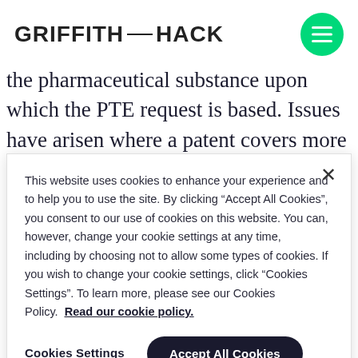GRIFFITH—HACK
the pharmaceutical substance upon which the PTE request is based. Issues have arisen where a patent covers more than one pharmaceutical substance with regulatory approval, i.e. listed in the Australian
This website uses cookies to enhance your experience and to help you to use the site. By clicking “Accept All Cookies”, you consent to our use of cookies on this website. You can, however, change your cookie settings at any time, including by choosing not to allow some types of cookies. If you wish to change your cookie settings, click "Cookies Settings". To learn more, please see our Cookies Policy. Read our cookie policy.
Cookies Settings
Accept All Cookies